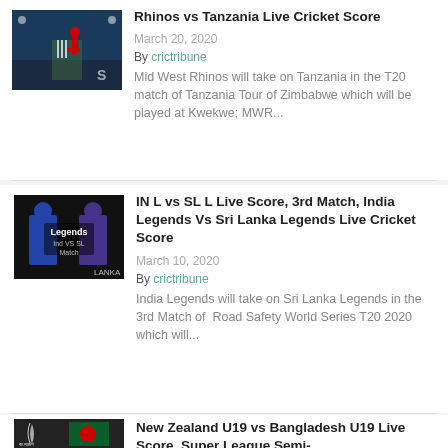[Figure (photo): Cricket match photo with player batting, blue stadium background]
Rhinos vs Tanzania Live Cricket Score
March 20, 2020
By crictribune
Mid West Rhinos will take on Tanzania in the T20 match of Tanzania Tour of Zimbabwe which will be played at Kwekwe; MWR...
[Figure (photo): India Legends vs Sri Lanka Legends match thumbnail with two players facing each other]
IN L vs SL L Live Score, 3rd Match, India Legends Vs Sri Lanka Legends Live Cricket Score
March 10, 2020
By crictribune
India Legends will take on Sri Lanka Legends in the 3rd Match of  Road Safety World Series T20 2020 which will...
[Figure (photo): New Zealand U19 vs Bangladesh U19 cricket thumbnail]
New Zealand U19 vs Bangladesh U19 Live Score, Super League Semi-